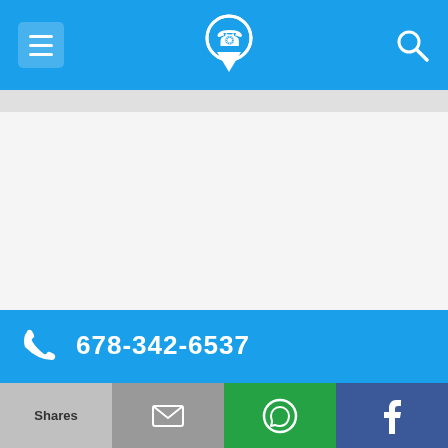[Figure (screenshot): Mobile app top navigation bar with hamburger menu, phone-with-pin logo, and search icon on blue background]
678-342-6537
| Field | Value |
| --- | --- |
| Alternate Form | 6783426537 |
| Caller name | Phyllis Wright |
| Last User Search | 12/30/19, 3:51 pm by a ... |
| Comments | 0 |
[Figure (screenshot): Bottom action bar with Shares, mail, WhatsApp, and Facebook buttons]